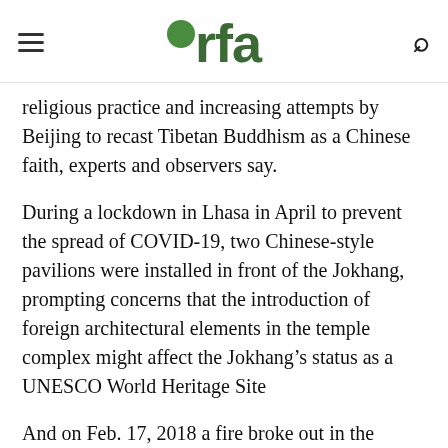rfa
religious practice and increasing attempts by Beijing to recast Tibetan Buddhism as a Chinese faith, experts and observers say.
During a lockdown in Lhasa in April to prevent the spread of COVID-19, two Chinese-style pavilions were installed in front of the Jokhang, prompting concerns that the introduction of foreign architectural elements in the temple complex might affect the Jokhang’s status as a UNESCO World Heritage Site
And on Feb. 17, 2018 a fire broke out in the temple compound, setting at least one building ablaze but sparing the central chapel that houses the temple’s central image, a famous statue of the Buddha brought